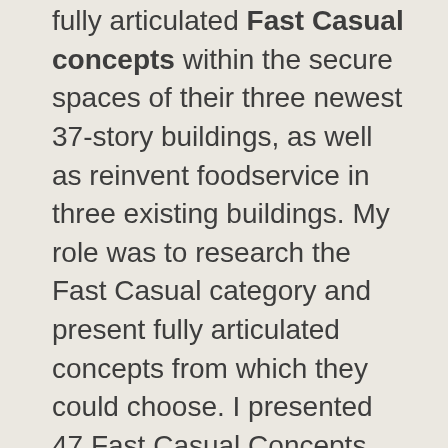fully articulated Fast Casual concepts within the secure spaces of their three newest 37-story buildings, as well as reinvent foodservice in three existing buildings. My role was to research the Fast Casual category and present fully articulated concepts from which they could choose. I presented 47 Fast Casual Concepts, with narratives, pictures, operational descriptions and prototype menus for each. From these 47, they have so far selected 27 which are being built.
Adobe
Collaborated with Russ Benson, DayOne Hospitality, as part of an RFP process, to